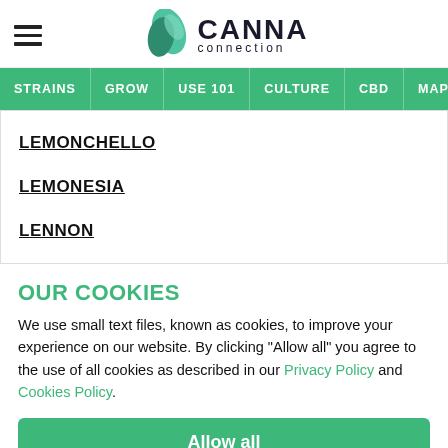CANNA connection
LEMONCHELLO
LEMONESIA
LENNON
OUR COOKIES
We use small text files, known as cookies, to improve your experience on our website. By clicking "Allow all" you agree to the use of all cookies as described in our Privacy Policy and Cookies Policy.
Allow all
Reject all
Manage cookies